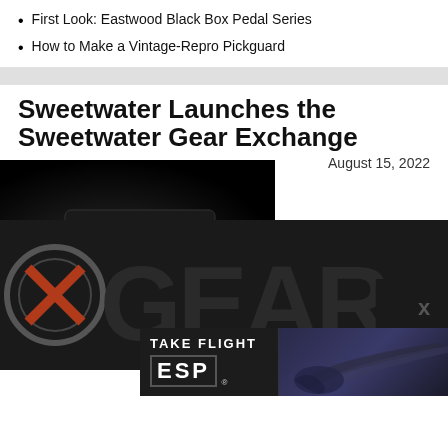First Look: Eastwood Black Box Pedal Series
How to Make a Vintage-Repro Pickguard
Sweetwater Launches the Sweetwater Gear Exchange
August 15, 2022
[Figure (screenshot): Video player thumbnail showing a black guitar pedal on dark background with play button overlay]
[Figure (photo): Sweetwater Gear Exchange branding with large letters G, E, A, R visible and a circular logo on left side]
[Figure (advertisement): ESP Guitars Take Flight advertisement showing ESP logo and a quilted dark blue electric guitar]